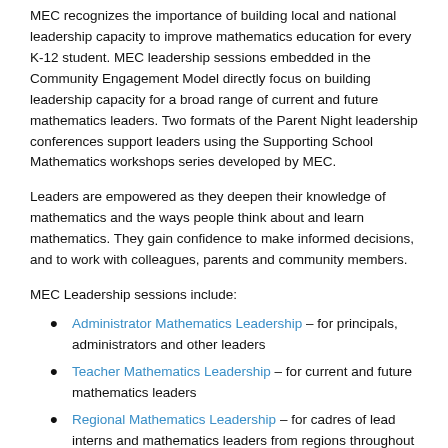MEC recognizes the importance of building local and national leadership capacity to improve mathematics education for every K-12 student. MEC leadership sessions embedded in the Community Engagement Model directly focus on building leadership capacity for a broad range of current and future mathematics leaders. Two formats of the Parent Night leadership conferences support leaders using the Supporting School Mathematics workshops series developed by MEC.
Leaders are empowered as they deepen their knowledge of mathematics and the ways people think about and learn mathematics. They gain confidence to make informed decisions, and to work with colleagues, parents and community members.
MEC Leadership sessions include:
Administrator Mathematics Leadership – for principals, administrators and other leaders
Teacher Mathematics Leadership – for current and future mathematics leaders
Regional Mathematics Leadership – for cadres of leaders, interns and mathematics leaders from regions throughout